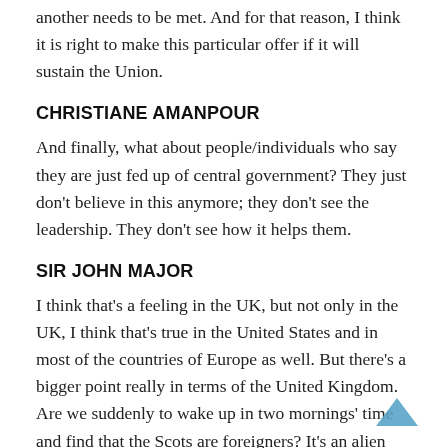another needs to be met. And for that reason, I think it is right to make this particular offer if it will sustain the Union.
CHRISTIANE AMANPOUR
And finally, what about people/individuals who say they are just fed up of central government? They just don't believe in this anymore; they don't see the leadership. They don't see how it helps them.
SIR JOHN MAJOR
I think that's a feeling in the UK, but not only in the UK, I think that's true in the United States and in most of the countries of Europe as well. But there's a bigger point really in terms of the United Kingdom. Are we suddenly to wake up in two mornings' time and find that the Scots are foreigners? It's an alien concept, very hard to grasp